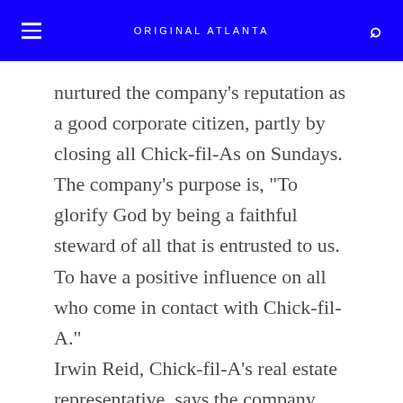ORIGINAL ATLANTA
nurtured the company's reputation as a good corporate citizen, partly by closing all Chick-fil-As on Sundays. The company's purpose is, "To glorify God by being a faithful steward of all that is entrusted to us. To have a positive influence on all who come in contact with Chick-fil-A." Irwin Reid, Chick-fil-A's real estate representative, says the company bent